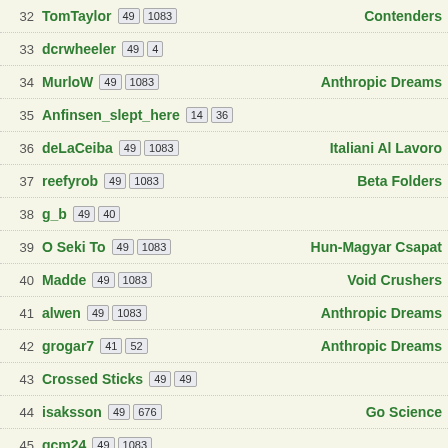32 TomTaylor 49 1083 Contenders
33 dcrwheeler 49 4
34 MurloW 49 1083 Anthropic Dreams
35 Anfinsen_slept_here 14 36
36 deLaCeiba 49 1083 Italiani Al Lavoro
37 reefyrob 49 1083 Beta Folders
38 g_b 49 40
39 O Seki To 49 1083 Hun-Magyar Csapat
40 Madde 49 1083 Void Crushers
41 alwen 49 1083 Anthropic Dreams
42 grogar7 41 52 Anthropic Dreams
43 Crossed Sticks 49 49
44 isaksson 49 676 Go Science
45 gcm24 49 1083
46 tony46 49 1083
47 nicobul 49 1083 L'Alliance Francophone
48 Norrjane 49 363 Gargleblasters
49 nemo7731 49 1083 Anthropic Dreams
50 aznarog 49 1083 L'Alliance Francophone